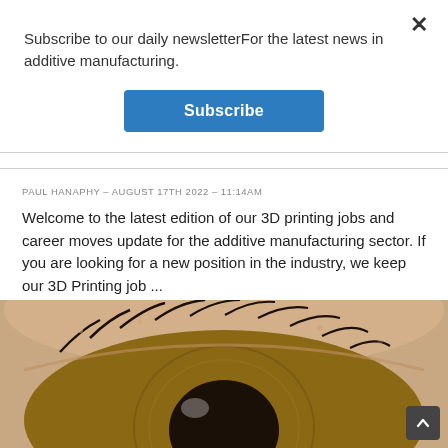Subscribe to our daily newsletterFor the latest news in additive manufacturing.
Subscribe
PAUL HANAPHY – AUGUST 17TH 2022 – 11:14AM
Welcome to the latest edition of our 3D printing jobs and career moves update for the additive manufacturing sector. If you are looking for a new position in the industry, we keep our 3D Printing job ...
0  0
[Figure (photo): Close-up macro photograph of a human eye showing the iris, pupil, eyelashes, and surrounding skin texture in detail.]